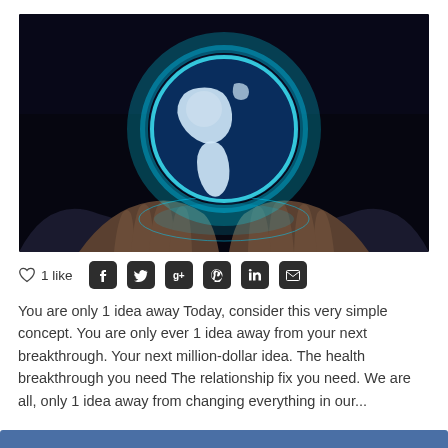[Figure (photo): A person in a dark suit holding a glowing blue holographic globe in their cupped hands against a dark background]
♡ 1 like  [Facebook] [Twitter] [G+] [Pinterest] [LinkedIn] [Email]
You are only 1 idea away Today, consider this very simple concept. You are only ever 1 idea away from your next breakthrough. Your next million-dollar idea. The health breakthrough you need The relationship fix you need. We are all, only 1 idea away from changing everything in our...